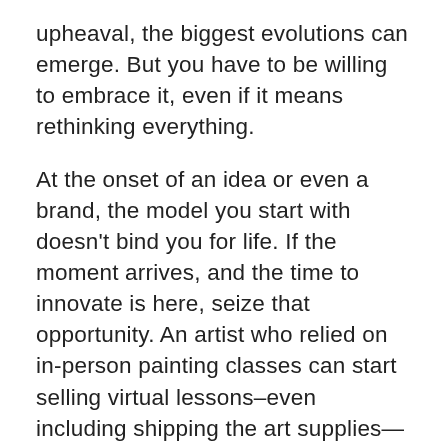upheaval, the biggest evolutions can emerge. But you have to be willing to embrace it, even if it means rethinking everything.
At the onset of an idea or even a brand, the model you start with doesn't bind you for life. If the moment arrives, and the time to innovate is here, seize that opportunity. An artist who relied on in-person painting classes can start selling virtual lessons–even including shipping the art supplies—and keep the model going forward. A medium-size business can forgo rent, keep a remote work environment, and invest in other resources to keep the company going. A small retailer that never touched a social media app can set up a digital store that eclipses their in-